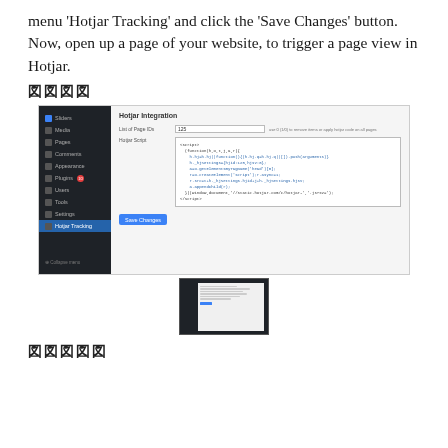Paste Hotjar code in 'Hotjar Script' field under menu 'Hotjar Tracking' and click the 'Save Changes' button. Now, open up a page of your website, to trigger a page view in Hotjar.
図図図図
[Figure (screenshot): Screenshot of a WordPress admin panel showing the Hotjar Integration settings page with a sidebar menu on the left (dark background) and the Hotjar Integration form on the right, including a List of Page IDs field and a Hotjar Script code editor area with JavaScript code, and a Save Changes button at the bottom.]
[Figure (screenshot): Small thumbnail image of the same Hotjar Integration settings screenshot.]
図図図図図